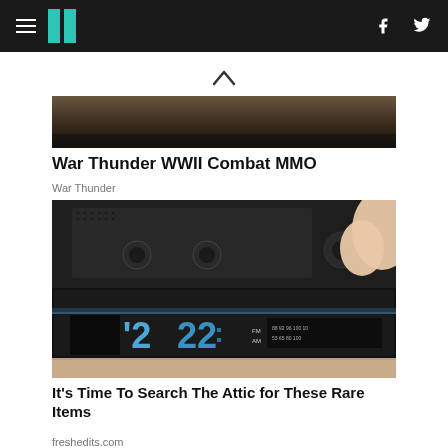HuffPost navigation with hamburger menu, logo, Facebook and Twitter icons
[Figure (photo): Dark brown textured surface — top portion of an advertisement image for War Thunder WWII Combat MMO]
War Thunder WWII Combat MMO
War Thunder
[Figure (photo): A Panasonic flip clock radio showing 2:22, with a hand reaching to adjust a knob. FM/AM dial visible on the right side.]
It's Time To Search The Attic for These Rare Items
freshedits.com